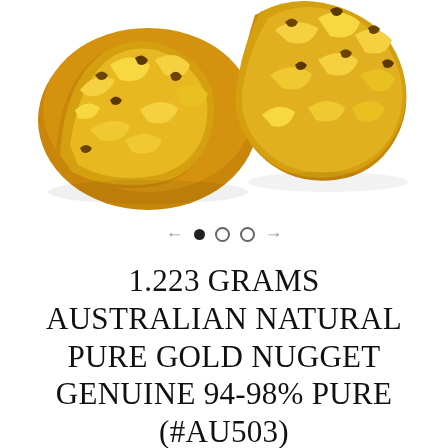[Figure (photo): Two gold nuggets on a white background, rough and lumpy texture, bright yellow-gold color]
1.223 GRAMS AUSTRALIAN NATURAL PURE GOLD NUGGET GENUINE 94-98% PURE (#AU503)